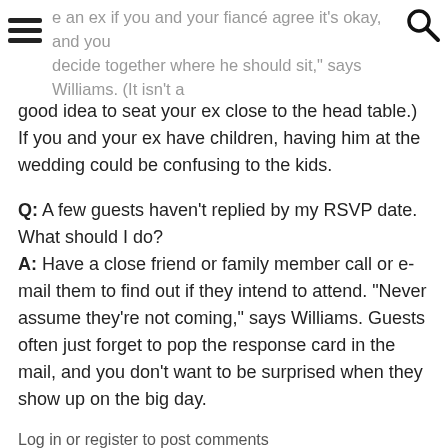e an ex if you and your fiancé agree it's okay, and you decide together where he should sit," says Williams. (It isn't a
good idea to seat your ex close to the head table.) If you and your ex have children, having him at the wedding could be confusing to the kids.
Q: A few guests haven't replied by my RSVP date. What should I do?
A: Have a close friend or family member call or e-mail them to find out if they intend to attend. "Never assume they're not coming," says Williams. Guests often just forget to pop the response card in the mail, and you don't want to be surprised when they show up on the big day.
Log in or register to post comments
Comments